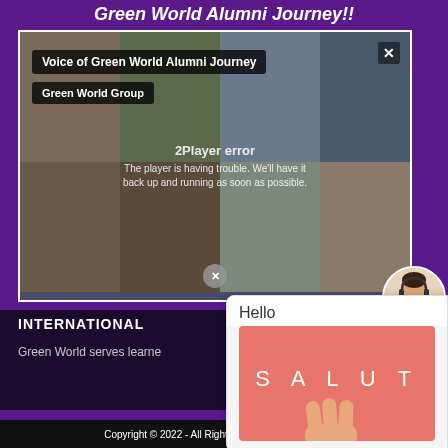Green World Alumni Journey!!
[Figure (screenshot): Video player showing a grid of alumni faces with title 'Voice of Green World Alumni Journey' and 'Green World Group'. A player error overlay reads '2 Player error - The player is having trouble. We'll have it back up and running as soon as possible.']
INTERNATIONAL
Green World serves learne
[Figure (screenshot): Chat popup window with 'Hello' heading and a coral/salmon colored panel displaying 'S A L U T' text with a hand waving illustration below.]
Copyright © 2022 - All Rights Reserved - Green World